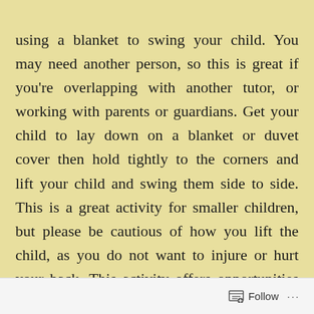using a blanket to swing your child. You may need another person, so this is great if you're overlapping with another tutor, or working with parents or guardians. Get your child to lay down on a blanket or duvet cover then hold tightly to the corners and lift your child and swing them side to side. This is a great activity for smaller children, but please be cautious of how you lift the child, as you do not want to injure or hurt your back. This activity offers opportunities for eye contact or gestures as a prerequisite for requesting (mand 1a-d). As
Follow ···